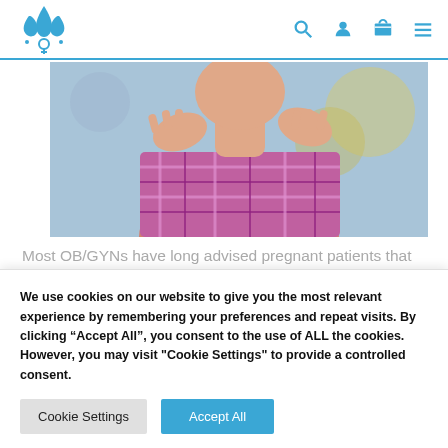[Logo] OB/GYN website header with navigation icons: search, account, cart, menu
[Figure (photo): Photo of a person in a pink/purple plaid shirt, hands raised near their neck/chest area, outdoor background]
Most OB/GYNs have long advised pregnant patients that it\'s perfectly safe to take acetaminophen (Tylenol) for pain, headaches, and fever. But a climate still tilting the
We use cookies on our website to give you the most relevant experience by remembering your preferences and repeat visits. By clicking “Accept All”, you consent to the use of ALL the cookies. However, you may visit "Cookie Settings" to provide a controlled consent.